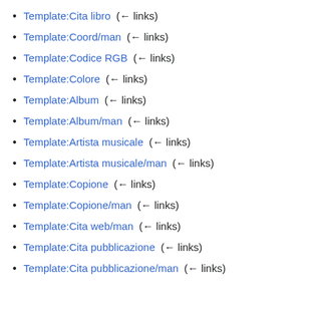Template:Cita libro (← links)
Template:Coord/man (← links)
Template:Codice RGB (← links)
Template:Colore (← links)
Template:Album (← links)
Template:Album/man (← links)
Template:Artista musicale (← links)
Template:Artista musicale/man (← links)
Template:Copione (← links)
Template:Copione/man (← links)
Template:Cita web/man (← links)
Template:Cita pubblicazione (← links)
Template:Cita pubblicazione/man (← links)